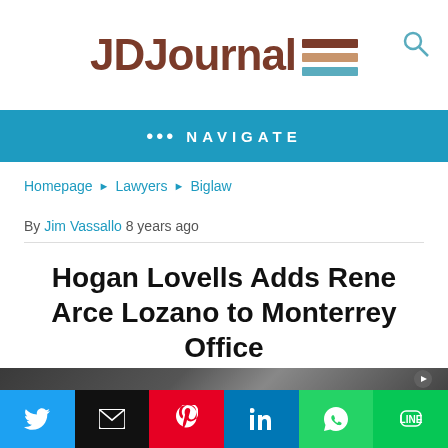JDJournal
••• NAVIGATE
Homepage ▶ Lawyers ▶ Biglaw
By Jim Vassallo 8 years ago
Hogan Lovells Adds Rene Arce Lozano to Monterrey Office
[Figure (photo): Hogan Lovells office sign photo, dark background]